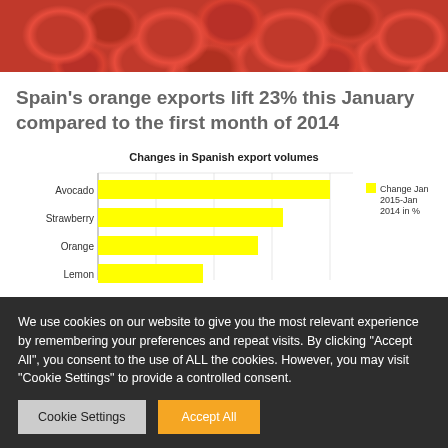[Figure (photo): Close-up photo of red tomatoes/peppers]
Spain's orange exports lift 23% this January compared to the first month of 2014
[Figure (bar-chart): Changes in Spanish export volumes]
We use cookies on our website to give you the most relevant experience by remembering your preferences and repeat visits. By clicking "Accept All", you consent to the use of ALL the cookies. However, you may visit "Cookie Settings" to provide a controlled consent.